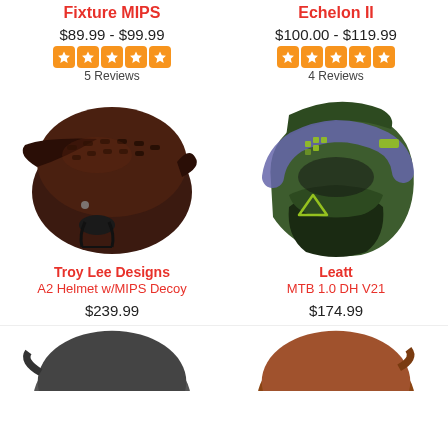Fixture MIPS
$89.99 - $99.99
5 Reviews
Echelon II
$100.00 - $119.99
4 Reviews
[Figure (photo): Dark brown/maroon mountain bike helmet - Troy Lee Designs A2 Helmet w/MIPS Decoy]
[Figure (photo): Green full-face mountain bike helmet - Leatt MTB 1.0 DH V21]
Troy Lee Designs
A2 Helmet w/MIPS Decoy
$239.99
Leatt
MTB 1.0 DH V21
$174.99
[Figure (photo): Partial view of dark gray helmet at bottom left]
[Figure (photo): Partial view of orange/brown helmet at bottom right]